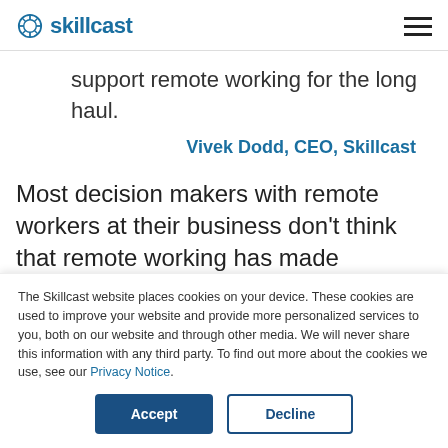skillcast
support remote working for the long haul.
Vivek Dodd, CEO, Skillcast
Most decision makers with remote workers at their business don't think that remote working has made staff compliance any more difficult (60%) or led to
The Skillcast website places cookies on your device. These cookies are used to improve your website and provide more personalized services to you, both on our website and through other media. We will never share this information with any third party. To find out more about the cookies we use, see our Privacy Notice.